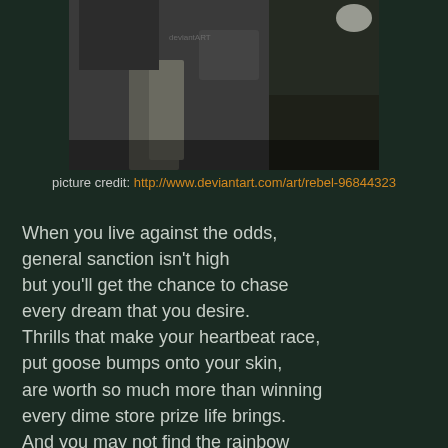[Figure (photo): Black and white photo of a person, partially cropped at top of page]
picture credit: http://www.deviantart.com/art/rebel-96844323
When you live against the odds,
general sanction isn't high
but you'll get the chance to chase
every dream that you desire.
Thrills that make your heartbeat race,
put goose bumps onto your skin,
are worth so much more than winning
every dime store prize life brings.
And you may not find the rainbow
nor the picture perfect life,
but you may just find another
soul who's heart beats just like mine...